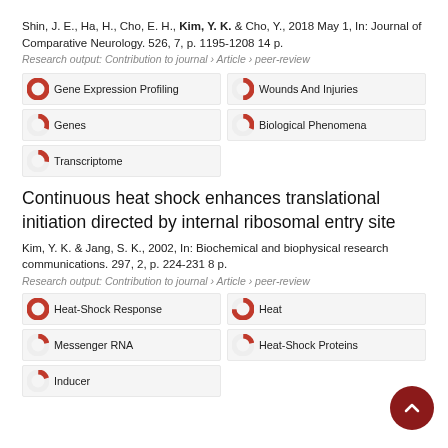Shin, J. E., Ha, H., Cho, E. H., Kim, Y. K. & Cho, Y., 2018 May 1, In: Journal of Comparative Neurology. 526, 7, p. 1195-1208 14 p.
Research output: Contribution to journal › Article › peer-review
Gene Expression Profiling
Wounds And Injuries
Genes
Biological Phenomena
Transcriptome
Continuous heat shock enhances translational initiation directed by internal ribosomal entry site
Kim, Y. K. & Jang, S. K., 2002, In: Biochemical and biophysical research communications. 297, 2, p. 224-231 8 p.
Research output: Contribution to journal › Article › peer-review
Heat-Shock Response
Heat
Messenger RNA
Heat-Shock Proteins
Inducer